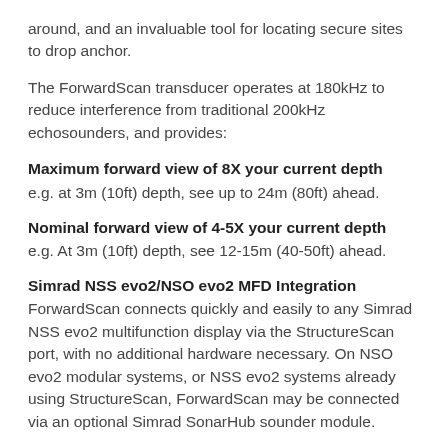around, and an invaluable tool for locating secure sites to drop anchor.
The ForwardScan transducer operates at 180kHz to reduce interference from traditional 200kHz echosounders, and provides:
Maximum forward view of 8X your current depth
e.g. at 3m (10ft) depth, see up to 24m (80ft) ahead.
Nominal forward view of 4-5X your current depth
e.g. At 3m (10ft) depth, see 12-15m (40-50ft) ahead.
Simrad NSS evo2/NSO evo2 MFD Integration
ForwardScan connects quickly and easily to any Simrad NSS evo2 multifunction display via the StructureScan port, with no additional hardware necessary. On NSO evo2 modular systems, or NSS evo2 systems already using StructureScan, ForwardScan may be connected via an optional Simrad SonarHub sounder module.